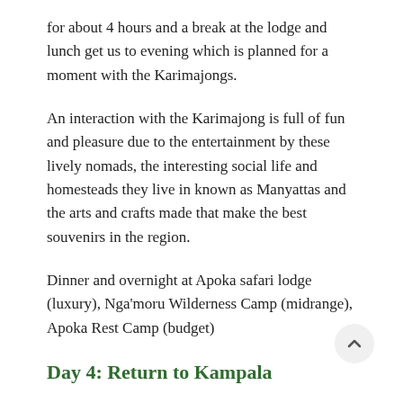for about 4 hours and a break at the lodge and lunch get us to evening which is planned for a moment with the Karimajongs.
An interaction with the Karimajong is full of fun and pleasure due to the entertainment by these lively nomads, the interesting social life and homesteads they live in known as Manyattas and the arts and crafts made that make the best souvenirs in the region.
Dinner and overnight at Apoka safari lodge (luxury), Nga'moru Wilderness Camp (midrange), Apoka Rest Camp (budget)
Day 4: Return to Kampala
Enjoy your early breakfast with cheers on this last